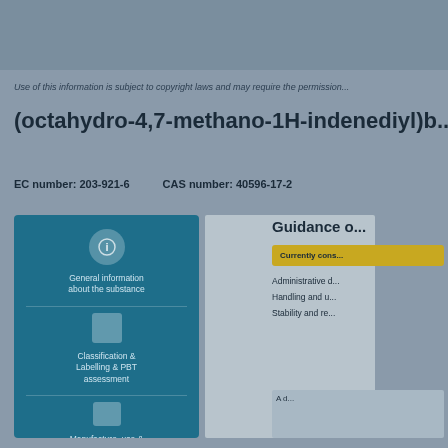Use of this information is subject to copyright laws and may require the permission...
(octahydro-4,7-methano-1H-indenediyl)b...
EC number: 203-921-6   CAS number: 40596-17-2
[Figure (infographic): Blue information panel with three icon sections: general information icon with label text, classification & labelling/PBT assessment section with square icon, and regulatory/reporting section with rectangle icon]
[Figure (screenshot): Middle panel showing chemical structure or blank content area]
Guidance o...
Currently cons...
Administrative d...
Handling and u...
Stability and re...